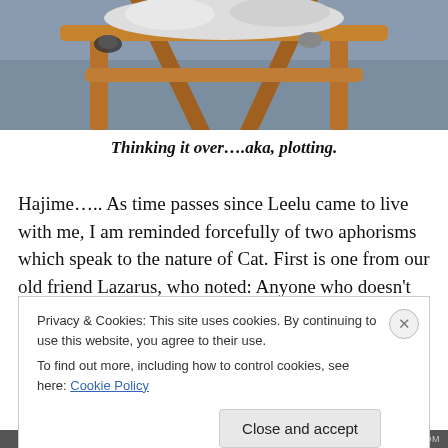[Figure (photo): A cat resting on a wooden chair with crossed legs, photographed from below. The chair has a warm brown wooden frame. Background is bluish-gray.]
Thinking it over....aka, plotting.
Hajime….. As time passes since Leelu came to live with me, I am reminded forcefully of two aphorisms which speak to the nature of Cat. First is one from our old friend Lazarus, who noted: Anyone who doesn't believe in
Privacy & Cookies: This site uses cookies. By continuing to use this website, you agree to their use.
To find out more, including how to control cookies, see here: Cookie Policy
Close and accept